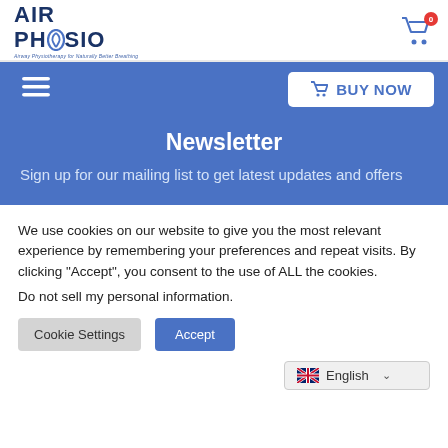[Figure (logo): AirPhysio logo with text 'AIR PHYSIO' in dark blue and tagline 'Airway Physiotherapy for Naturally Better Breathing']
[Figure (infographic): Shopping cart icon with red badge showing 0]
[Figure (infographic): Hamburger menu icon (three horizontal lines) in white on blue background]
BUY NOW
Newsletter
Sign up for our mailing list to get latest updates and offers
We use cookies on our website to give you the most relevant experience by remembering your preferences and repeat visits. By clicking “Accept”, you consent to the use of ALL the cookies.
Do not sell my personal information.
Cookie Settings
Accept
English